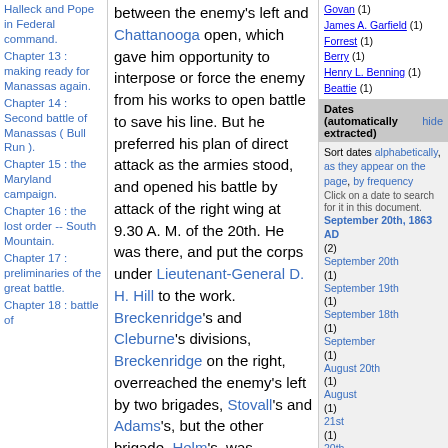Halleck and Pope in Federal command.
Chapter 13 : making ready for Manassas again.
Chapter 14 : Second battle of Manassas ( Bull Run ).
Chapter 15 : the Maryland campaign.
Chapter 16 : the lost order -- South Mountain.
Chapter 17 : preliminaries of the great battle.
Chapter 18 : battle of
between the enemy's left and Chattanooga open, which gave him opportunity to interpose or force the enemy from his works to open battle to save his line. But he preferred his plan of direct attack as the armies stood, and opened his battle by attack of the right wing at 9.30 A. M. of the 20th. He was there, and put the corps under Lieutenant-General D. H. Hill to the work. Breckenridge's and Cleburne's divisions, Breckenridge on the right, overreached the enemy's left by two brigades, Stovall's and Adams's, but the other brigade, Helm's, was marched through the wood into front assault of the enemy behind his field-works. This brigade made [446] desperate repeated and gallant
Govan (1)
James A. Garfield (1)
Forrest (1)
Berry (1)
Henry L. Benning (1)
Beattie (1)
Dates (automatically extracted) hide
Sort dates alphabetically, as they appear on the page, by frequency
Click on a date to search for it in this document.
September 20th, 1863 AD (2)
September 20th (1)
September 19th (1)
September 18th (1)
September (1)
August 20th (1)
August (1)
21st (1)
20th (1)
Search hide
Searching in English. More search options
Limit Search to:
From Manassas to Appomattox (this document)
Display Preferences hide
Greek Displays: Unicode (precombined